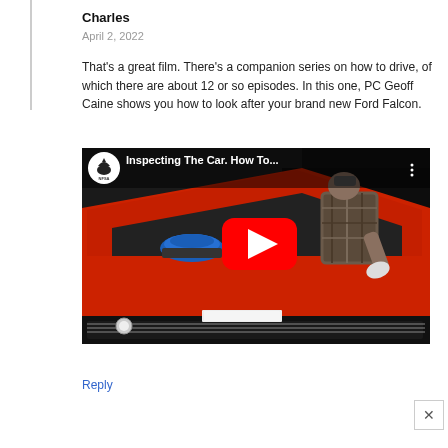Charles
April 2, 2022
That's a great film. There's a companion series on how to drive, of which there are about 12 or so episodes. In this one, PC Geoff Caine shows you how to look after your brand new Ford Falcon.
[Figure (screenshot): YouTube video thumbnail showing a man inspecting the engine of a red Ford Falcon car with the hood open. The video is titled 'Inspecting The Car. How To...' with an NFSA (National Film and Sound Archive) logo. A red YouTube play button is overlaid in the center.]
Reply